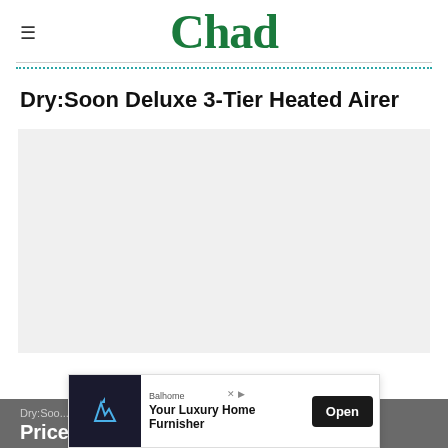Chad
Dry:Soon Deluxe 3-Tier Heated Airer
[Figure (photo): Product image placeholder area with light grey background for Dry:Soon Deluxe 3-Tier Heated Airer]
Dry:Soo...
Price: £164.99
[Figure (other): Advertisement overlay: Balhome - Your Luxury Home Furnisher, with Open button]